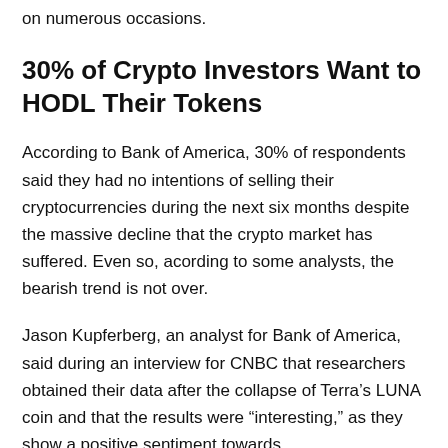on numerous occasions.
30% of Crypto Investors Want to HODL Their Tokens
According to Bank of America, 30% of respondents said they had no intentions of selling their cryptocurrencies during the next six months despite the massive decline that the crypto market has suffered. Even so, acording to some analysts, the bearish trend is not over.
Jason Kupferberg, an analyst for Bank of America, said during an interview for CNBC that researchers obtained their data after the collapse of Terra's LUNA coin and that the results were “interesting,” as they show a positive sentiment towards